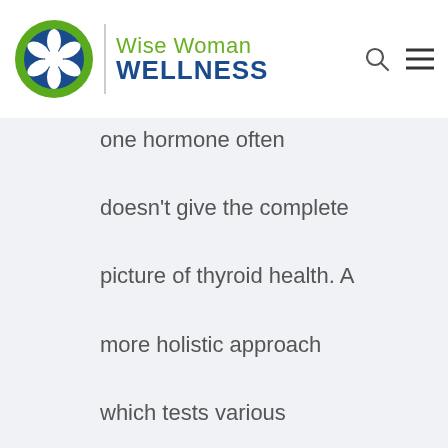[Figure (logo): Wise Woman Wellness logo with green circular flower icon and text]
one hormone often doesn't give the complete picture of thyroid health. A more holistic approach which tests various hormone levels throughout the system can often yield more information – and more effective treatment.